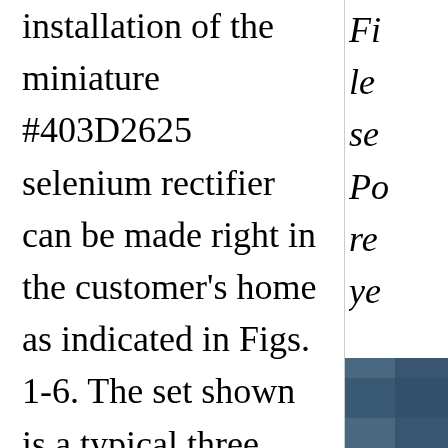installation of the miniature #403D2625 selenium rectifier can be made right in the customer's home as indicated in Figs. 1-6. The set shown is a typical three powered portable using a 117Z6 rectifier. As is evident from the schematic of the power supply (Fig. 7) the filament of this tube is
Fi le se Po re ye
[Figure (photo): Partial photograph visible in bottom-right corner, appears to be a blue-toned image of electronic equipment]